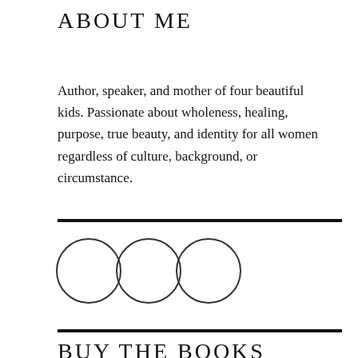ABOUT ME
Author, speaker, and mother of four beautiful kids. Passionate about wholeness, healing, purpose, true beauty, and identity for all women regardless of culture, background, or circumstance.
[Figure (illustration): Three overlapping circle outlines arranged horizontally]
BUY THE BOOKS